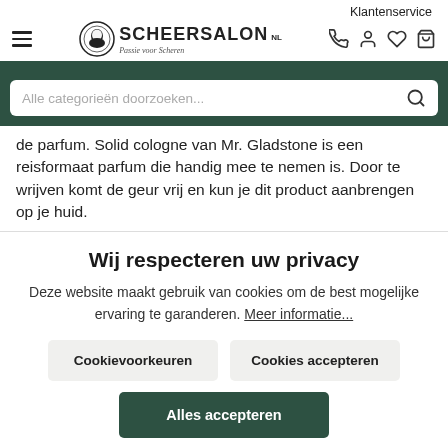Klantenservice
[Figure (logo): Scheersalon logo with circular emblem, brand name SCHEERSALON NL and tagline Passie voor Scheren]
de parfum. Solid cologne van Mr. Gladstone is een reisformaat parfum die handig mee te nemen is. Door te wrijven komt de geur vrij en kun je dit product aanbrengen op je huid.
Wij respecteren uw privacy
Deze website maakt gebruik van cookies om de best mogelijke ervaring te garanderen. Meer informatie...
Cookievoorkeuren
Cookies accepteren
Alles accepteren